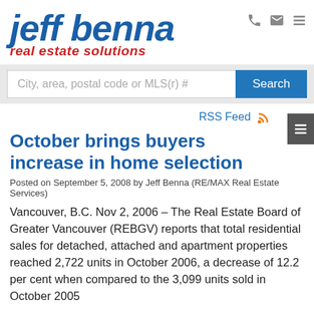[Figure (logo): Jeff Benna Real Estate Solutions logo — 'jeff benna' in large bold italic blue text, 'real estate solutions' in bold italic red below]
City, area, postal code or MLS(r) #
October brings buyers increase in home selection
Posted on September 5, 2008 by Jeff Benna (RE/MAX Real Estate Services)
Vancouver, B.C. Nov 2, 2006 – The Real Estate Board of Greater Vancouver (REBGV) reports that total residential sales for detached, attached and apartment properties reached 2,722 units in October 2006, a decrease of 12.2 per cent when compared to the 3,099 units sold in October 2005